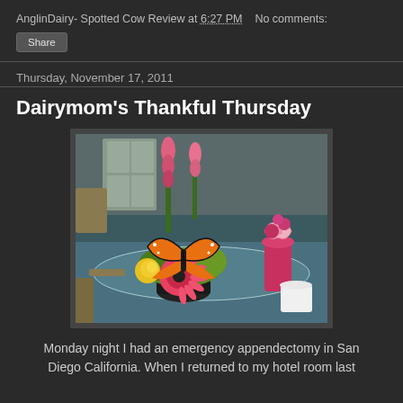AnglinDairy- Spotted Cow Review at 6:27 PM   No comments:
Share
Thursday, November 17, 2011
Dairymom's Thankful Thursday
[Figure (photo): Flower arrangement with a monarch butterfly on top, pink gerbera daisies, green mums, yellow roses, and tall pink snapdragons, placed on a glass table in a hotel room. A small vase with pink flowers and a ribbon is visible in the background.]
Monday night I had an emergency appendectomy in San Diego California. When I returned to my hotel room last